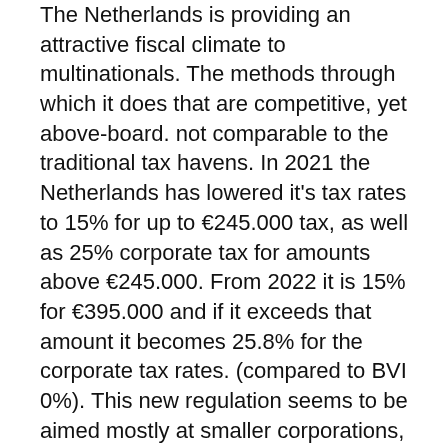The Netherlands is providing an attractive fiscal climate to multinationals. The methods through which it does that are competitive, yet above-board. not comparable to the traditional tax havens. In 2021 the Netherlands has lowered it's tax rates to 15% for up to €245.000 tax, as well as 25% corporate tax for amounts above €245.000. From 2022 it is 15% for €395.000 and if it exceeds that amount it becomes 25.8% for the corporate tax rates. (compared to BVI 0%). This new regulation seems to be aimed mostly at smaller corporations, positioning the Netherlands to attract more small businesses.
The Netherlands offers advanced tax rulings for multinational corporations, which...